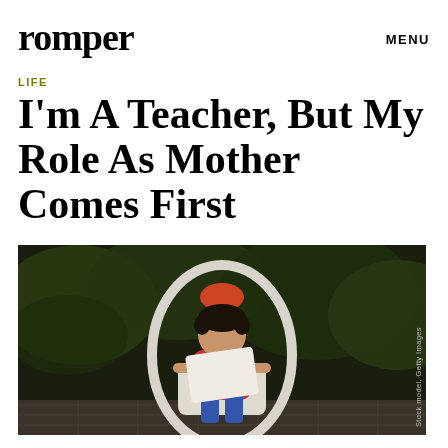romper
MENU
LIFE
I'm A Teacher, But My Role As Mother Comes First
[Figure (photo): A young child sitting on a white plastic chair outdoors, holding a piece of paper or card, wearing a striped sweater and jeans, with green foliage in the background. Credit: Stock model, Getty Images]